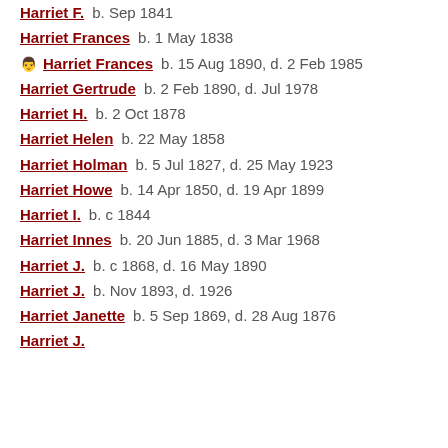Harriet F.    b. Sep 1841
Harriet Frances    b. 1 May 1838
Harriet Frances    b. 15 Aug 1890, d. 2 Feb 1985
Harriet Gertrude    b. 2 Feb 1890, d. Jul 1978
Harriet H.    b. 2 Oct 1878
Harriet Helen    b. 22 May 1858
Harriet Holman    b. 5 Jul 1827, d. 25 May 1923
Harriet Howe    b. 14 Apr 1850, d. 19 Apr 1899
Harriet I.    b. c 1844
Harriet Innes    b. 20 Jun 1885, d. 3 Mar 1968
Harriet J.    b. c 1868, d. 16 May 1890
Harriet J.    b. Nov 1893, d. 1926
Harriet Janette    b. 5 Sep 1869, d. 28 Aug 1876
Harriet J.